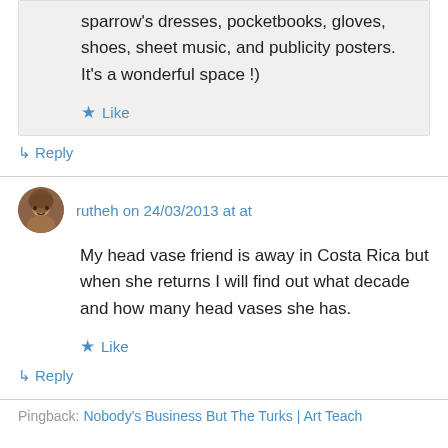sparrow's dresses, pocketbooks, gloves, shoes, sheet music, and publicity posters. It's a wonderful space !)
Like
↳ Reply
rutheh on 24/03/2013 at at
My head vase friend is away in Costa Rica but when she returns I will find out what decade and how many head vases she has.
Like
↳ Reply
Pingback: Nobody's Business But The Turks | Art Teach